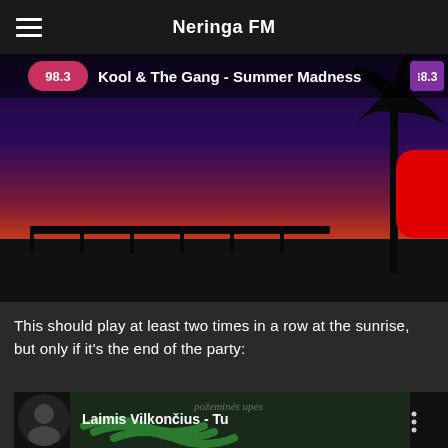Neringa FM
[Figure (screenshot): YouTube video thumbnail for 'Kool & The Gang - Summer Madness' showing a sunset over a pier with a palm tree silhouette and a red YouTube play button in the center]
This should play at least two times in a row at the sunrise, but only if it's the end of the party:
[Figure (screenshot): YouTube video thumbnail for 'Laimis Vilkončius - Tu' showing a dark image with green wave graphics and text 'požeminės upės']